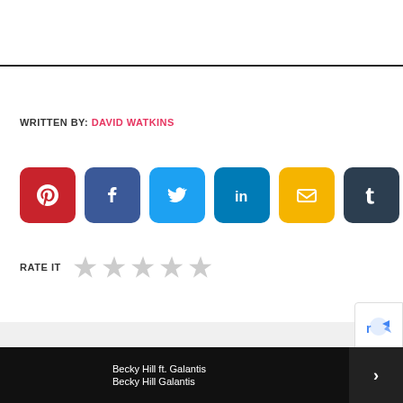WRITTEN BY: DAVID WATKINS
[Figure (infographic): Row of 7 social media share buttons: Pinterest (red), Facebook (dark blue), Twitter (light blue), LinkedIn (teal), Email (yellow), Tumblr (dark navy), WhatsApp (green)]
RATE IT ☆ ☆ ☆ ☆ ☆
Becky Hill ft. Galantis
Becky Hill Galantis